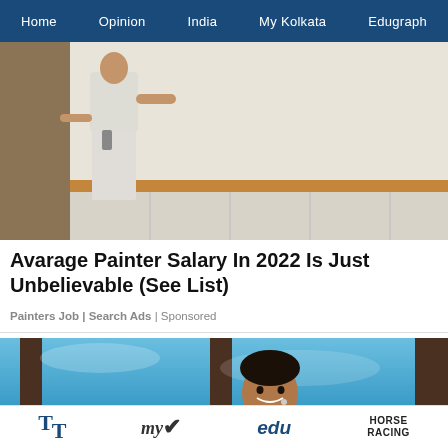Home | Opinion | India | My Kolkata | Edugraph
[Figure (photo): A person in white clothes painting or working on a wall, viewed from behind, with a wooden railing visible.]
Avarage Painter Salary In 2022 Is Just Unbelievable (See List)
Painters Job | Search Ads | Sponsored
[Figure (photo): A man smiling on a stage with blue sky-like backdrop and dark pillars, appearing to be a performer or comedian.]
TT | my | edu | HORSE RACING